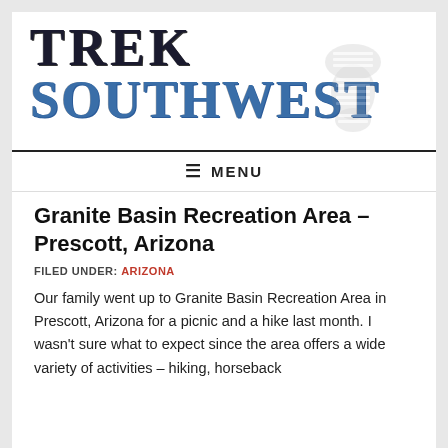[Figure (logo): Trek Southwest logo with boot stamp watermark. TREK in large black serif font, SOUTHWEST in large blue serif font below it, with a faded boot print graphic on the right.]
≡ MENU
Granite Basin Recreation Area – Prescott, Arizona
FILED UNDER: ARIZONA
Our family went up to Granite Basin Recreation Area in Prescott, Arizona for a picnic and a hike last month. I wasn't sure what to expect since the area offers a wide variety of activities – hiking, horseback